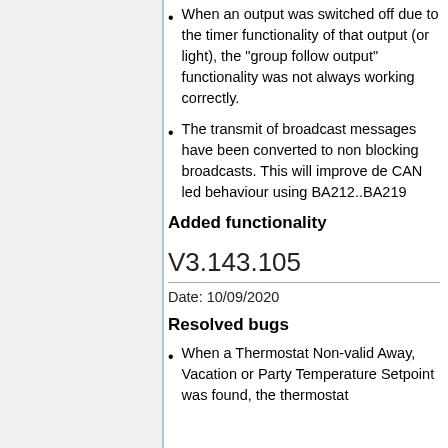When an output was switched off due to the timer functionality of that output (or light), the "group follow output" functionality was not always working correctly.
The transmit of broadcast messages have been converted to non blocking broadcasts. This will improve de CAN led behaviour using BA212..BA219
Added functionality
V3.143.105
Date: 10/09/2020
Resolved bugs
When a Thermostat Non-valid Away, Vacation or Party Temperature Setpoint was found, the thermostat